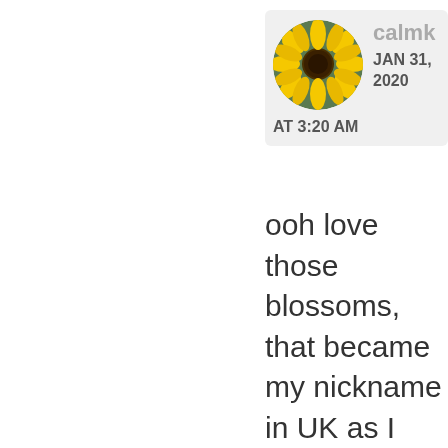[Figure (photo): Circular profile picture showing a bright yellow sunflower]
calmk
JAN 31, 2020
AT 3:20 AM
ooh love those blossoms, that became my nickname in UK as I took so many photos ...